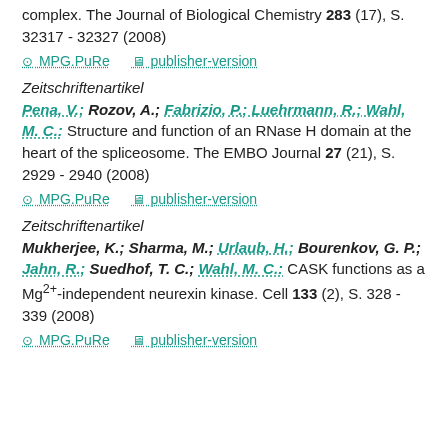complex. The Journal of Biological Chemistry 283 (17), S. 32317 - 32327 (2008)
⊙ MPG.PuRe   publisher-version
Zeitschriftenartikel
Pena, V.; Rozov, A.; Fabrizio, P.; Luehrmann, R.; Wahl, M. C.: Structure and function of an RNase H domain at the heart of the spliceosome. The EMBO Journal 27 (21), S. 2929 - 2940 (2008)
⊙ MPG.PuRe   publisher-version
Zeitschriftenartikel
Mukherjee, K.; Sharma, M.; Urlaub, H.; Bourenkov, G. P.; Jahn, R.; Suedhof, T. C.; Wahl, M. C.: CASK functions as a Mg2+-independent neurexin kinase. Cell 133 (2), S. 328 - 339 (2008)
⊙ MPG.PuRe   publisher-version